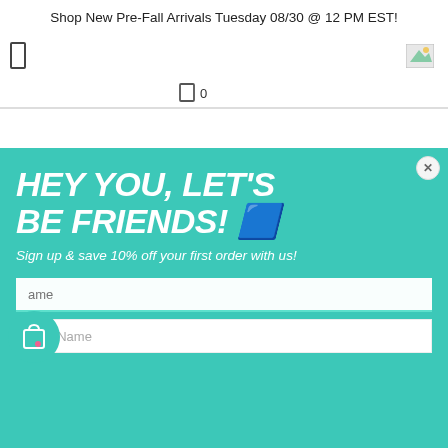Shop New Pre-Fall Arrivals Tuesday 08/30 @ 12 PM EST!
[Figure (screenshot): Navigation bar with hamburger/menu icon on the left and a broken image icon in the center]
0
[Figure (screenshot): Popup modal with teal background. Large bold italic text: HEY YOU, LET'S BE FRIENDS! with a phone emoji. Subtitle: Sign up & save 10% off your first order with us! Two input fields: First Name (partially obscured by shopping bag icon) and Last Name. Close button (X) in top right corner.]